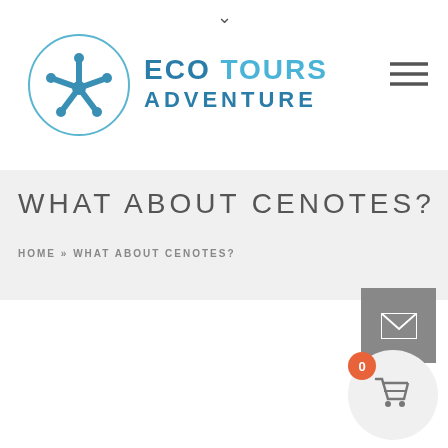[Figure (logo): Eco Tours Adventure logo with starfish in circle and blue text]
WHAT ABOUT CENOTES?
HOME » WHAT ABOUT CENOTES?